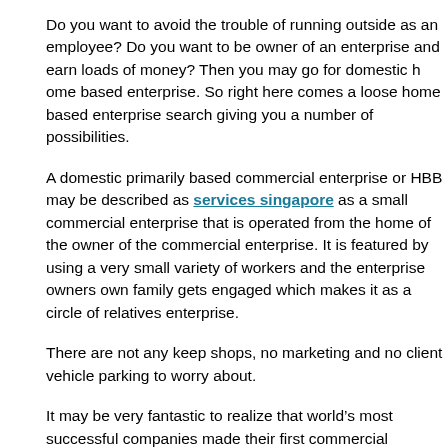Do you want to avoid the trouble of running outside as an employee? Do you want to be owner of an enterprise and earn loads of money? Then you may go for domestic home based enterprise. So right here comes a loose home based enterprise search giving you a number of possibilities.
A domestic primarily based commercial enterprise or HBB may be described as services singapore as a small commercial enterprise that is operated from the home of the owner of the commercial enterprise. It is featured by using a very small variety of workers and the enterprise owners own family gets engaged which makes it as a circle of relatives enterprise.
There are not any keep shops, no marketing and no client vehicle parking to worry about.
It may be very fantastic to realize that world's most successful companies made their first commercial enterprise. Examples are Disney, Apple, Microsoft and others. A domestic home based Communications Company says that more than fifty percentage of the businesses started as home business.
Below is a list of traditional opportunities for domestic commercial enterprise: photography, weddings, designing of website, typing, tailor carrier, carrier of bookkeeping, landscaping, carpentering, cleansing, provider of computer training, freelancing writer, musical training, fitness consultancy, interior ornament, breeding pets, service of realtors, selling herbs, delivery food carrier and crèche service.